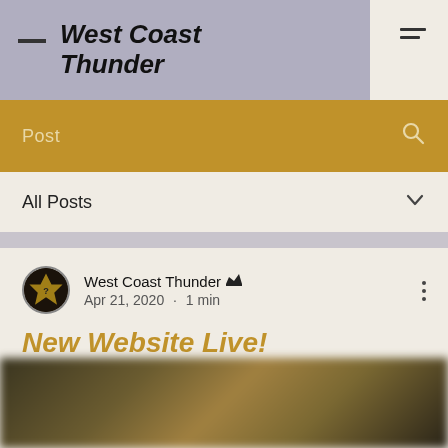West Coast Thunder
Post
All Posts
West Coast Thunder Apr 21, 2020 · 1 min
New Website Live!
[Figure (photo): Blurred background image at bottom of page, showing dark and golden tones]